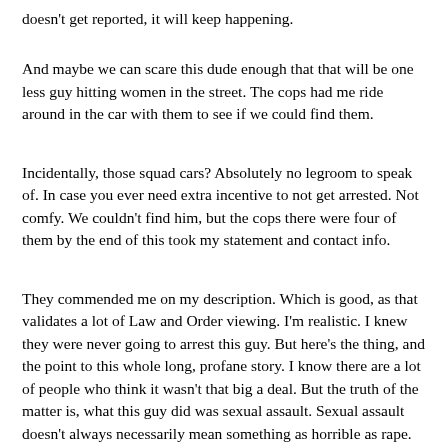doesn't get reported, it will keep happening.
And maybe we can scare this dude enough that that will be one less guy hitting women in the street. The cops had me ride around in the car with them to see if we could find them.
Incidentally, those squad cars? Absolutely no legroom to speak of. In case you ever need extra incentive to not get arrested. Not comfy. We couldn't find him, but the cops there were four of them by the end of this took my statement and contact info.
They commended me on my description. Which is good, as that validates a lot of Law and Order viewing. I'm realistic. I knew they were never going to arrest this guy. But here's the thing, and the point to this whole long, profane story. I know there are a lot of people who think it wasn't that big a deal. But the truth of the matter is, what this guy did was sexual assault. Sexual assault doesn't always necessarily mean something as horrible as rape. And too often street harassment is unreported, and douchebags like this think they can get away with it because the girl is gonna be too embarrassed or too meek to do anything about it.